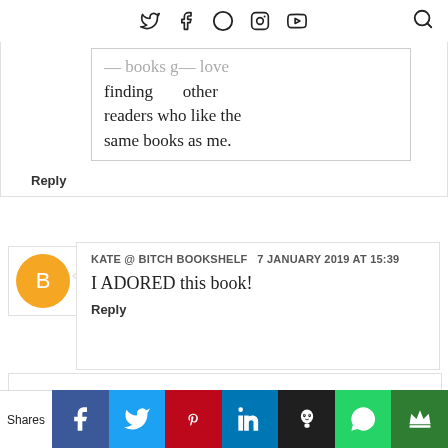Twitter Facebook Pinterest Instagram YouTube [Search]
finding other readers who like the same books as me.
Reply
KATE @ BITCH BOOKSHELF  7 JANUARY 2019 AT 15:39
I ADORED this book!
Reply
▼ Replies
Shares | Facebook | Twitter | Pinterest | LinkedIn | Hootsuite | WhatsApp | Crown